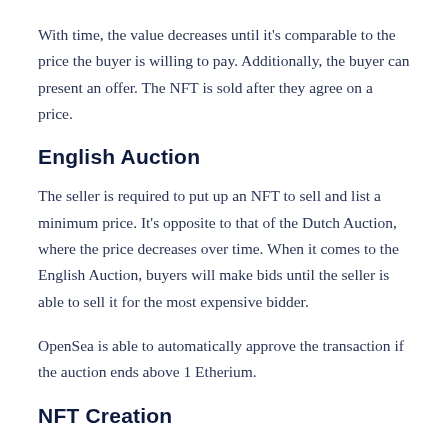With time, the value decreases until it's comparable to the price the buyer is willing to pay. Additionally, the buyer can present an offer. The NFT is sold after they agree on a price.
English Auction
The seller is required to put up an NFT to sell and list a minimum price. It's opposite to that of the Dutch Auction, where the price decreases over time. When it comes to the English Auction, buyers will make bids until the seller is able to sell it for the most expensive bidder.
OpenSea is able to automatically approve the transaction if the auction ends above 1 Etherium.
NFT Creation
You can also create your own NFTs via the platform. They can